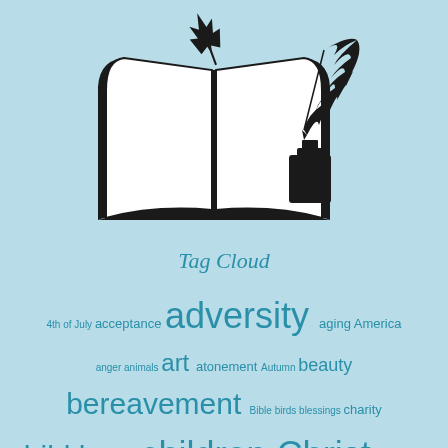[Figure (illustration): Black silhouette illustration of an open book with a maple leaf and a quill pen with ink bottle, on light blue background]
Tag Cloud
4th of July acceptance adversity aging America anger animals art atonement Autumn beauty bereavement Bible birds blessings charity child loss children Christ Christmas courage creativity death death of a child discipleship divorce dreams Easter faith family fear freedom friends God grief